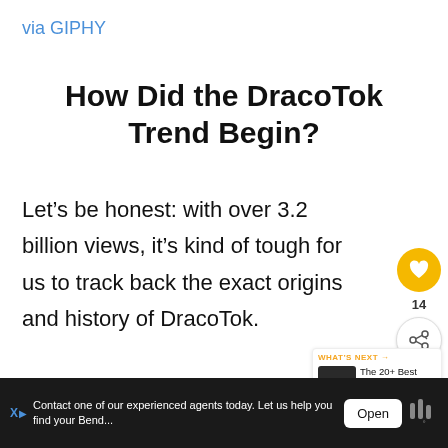via GIPHY
How Did the DracoTok Trend Begin?
Let’s be honest: with over 3.2 billion views, it’s kind of tough for us to track back the exact origins and history of DracoTok.
In fact, some OG Draco stans (as in
Contact one of our experienced agents today. Let us help you find your Bend...
Open